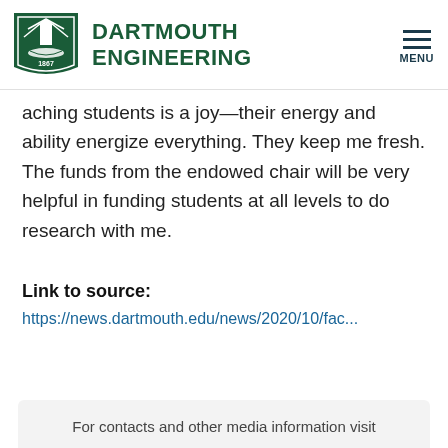DARTMOUTH ENGINEERING
aching students is a joy—their energy and ability energize everything. They keep me fresh. The funds from the endowed chair will be very helpful in funding students at all levels to do research with me.
Link to source:
https://news.dartmouth.edu/news/2020/10/fac...
For contacts and other media information visit